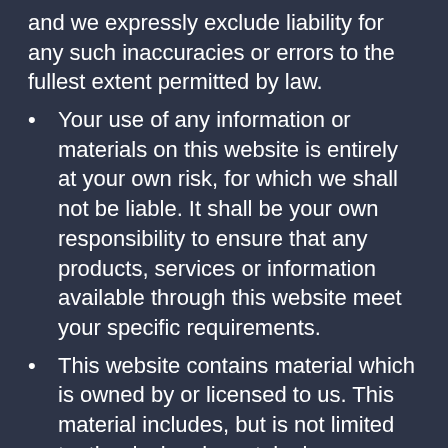and we expressly exclude liability for any such inaccuracies or errors to the fullest extent permitted by law.
Your use of any information or materials on this website is entirely at your own risk, for which we shall not be liable. It shall be your own responsibility to ensure that any products, services or information available through this website meet your specific requirements.
This website contains material which is owned by or licensed to us. This material includes, but is not limited to, the design, layout, look, appearance and graphics. Reproduction is prohibited other than in